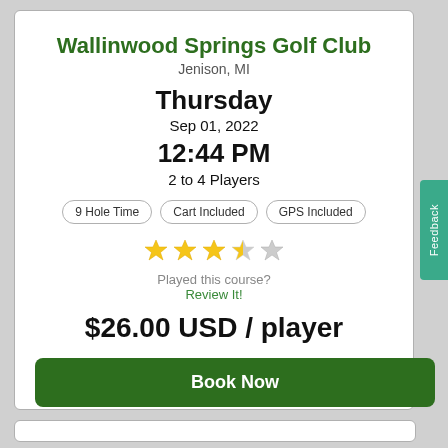Wallinwood Springs Golf Club
Jenison, MI
Thursday
Sep 01, 2022
12:44 PM
2 to 4 Players
9 Hole Time
Cart Included
GPS Included
[Figure (other): 3.5 star rating shown with 3 filled gold stars and 1 half/empty star and 1 empty star]
Played this course?
Review It!
$26.00 USD / player
Book Now